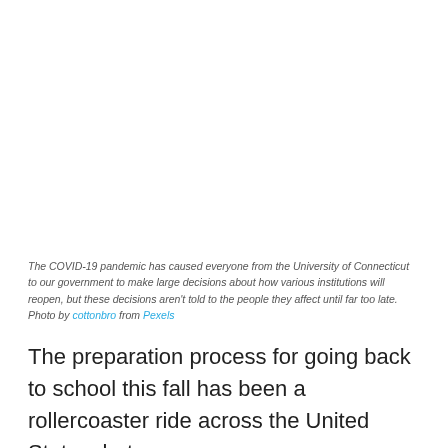[Figure (photo): Photo placeholder — image of people/school related to COVID-19 pandemic and back-to-school decisions]
The COVID-19 pandemic has caused everyone from the University of Connecticut to our government to make large decisions about how various institutions will reopen, but these decisions aren't told to the people they affect until far too late. Photo by cottonbro from Pexels
The preparation process for going back to school this fall has been a rollercoaster ride across the United States, but